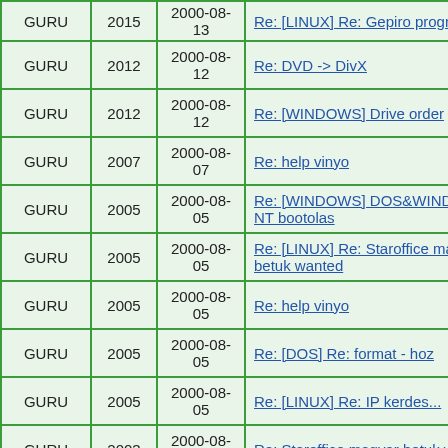| Role | Num | Date | Link |
| --- | --- | --- | --- |
| GURU | 2015 | 2000-08-13 | Re: [LINUX] Re: Gepiro progr |
| GURU | 2012 | 2000-08-12 | Re: DVD -> DivX |
| GURU | 2012 | 2000-08-12 | Re: [WINDOWS] Drive order |
| GURU | 2007 | 2000-08-07 | Re: help vinyo |
| GURU | 2005 | 2000-08-05 | Re: [WINDOWS] DOS&WINDOWS NT bootolas |
| GURU | 2005 | 2000-08-05 | Re: [LINUX] Re: Staroffice magyar betuk wanted |
| GURU | 2005 | 2000-08-05 | Re: help vinyo |
| GURU | 2005 | 2000-08-05 | Re: [DOS] Re: format - hoz |
| GURU | 2005 | 2000-08-05 | Re: [LINUX] Re: IP kerdes... |
| GURU | 2003 | 2000-08-03 | Re: Staroffice magyar betuk wanted |